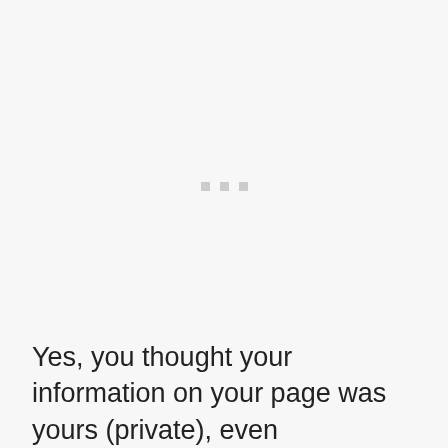[Figure (other): Three small grey square dots arranged horizontally, centered on the page, likely a loading indicator or ellipsis decoration.]
Yes, you thought your information on your page was yours (private), even